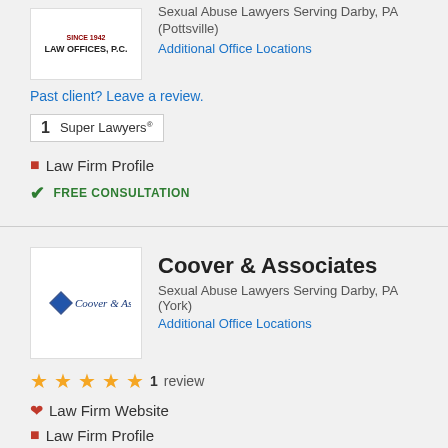[Figure (logo): Law Offices P.C. logo box]
Sexual Abuse Lawyers Serving Darby, PA (Pottsville)
Additional Office Locations
Past client? Leave a review.
[Figure (other): 1 Super Lawyers badge]
Law Firm Profile
FREE CONSULTATION
[Figure (logo): Coover & Associates logo box]
Coover & Associates
Sexual Abuse Lawyers Serving Darby, PA (York)
Additional Office Locations
1 review
Law Firm Website
Law Firm Profile